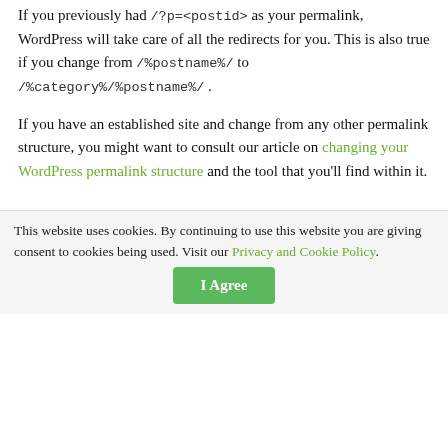If you previously had /?p=<postid> as your permalink, WordPress will take care of all the redirects for you. This is also true if you change from /%postname%/ to /%category%/%postname%/ .
If you have an established site and change from any other permalink structure, you might want to consult our article on changing your WordPress permalink structure and the tool that you'll find within it.
1.3.1. Choose WWW or non-WWW
You need to think about what you want your site to show up as www.example.com , or simply example.com . Make sure that in your general settings, in Settings →
This website uses cookies. By continuing to use this website you are giving consent to cookies being used. Visit our Privacy and Cookie Policy.